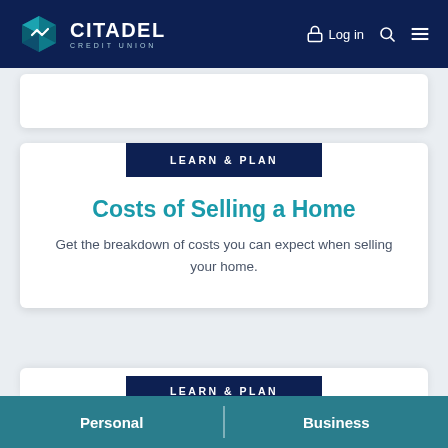CITADEL CREDIT UNION
LEARN & PLAN
Costs of Selling a Home
Get the breakdown of costs you can expect when selling your home.
LEARN & PLAN
Personal | Business